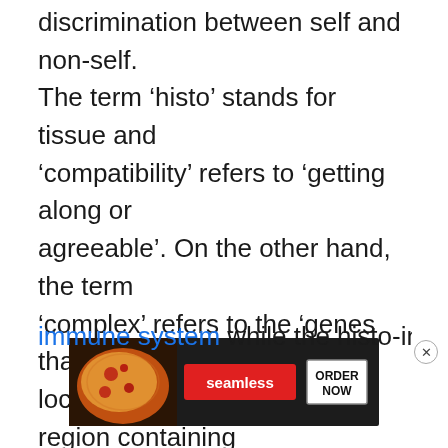discrimination between self and non-self. The term 'histo' stands for tissue and 'compatibility' refers to 'getting along or agreeable'. On the other hand, the term 'complex' refers to the 'genes that are localized to a large genetic region containing multiple loci'. These genes code for antigens which involve the determination of the compatibility of the transplanted tissue. The compatible tissues will be accepted by the immune system while the histo-incompatible ones are rejected. The rejection of foreign tissue ... cell surface molecules. The concept was first
[Figure (other): Advertisement banner for Seamless food delivery service showing pizza image on left, Seamless logo in red button in center, and ORDER NOW button on right, on a dark background.]